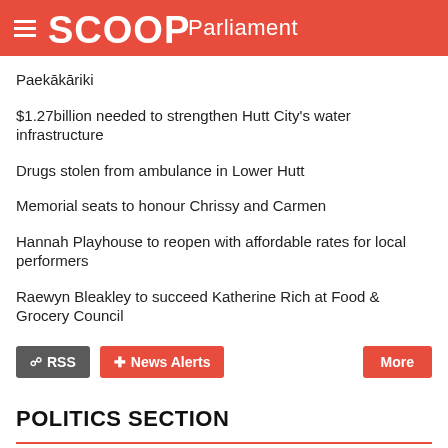SCOOP Parliament
Paekākāriki
$1.27billion needed to strengthen Hutt City's water infrastructure
Drugs stolen from ambulance in Lower Hutt
Memorial seats to honour Chrissy and Carmen
Hannah Playhouse to reopen with affordable rates for local performers
Raewyn Bleakley to succeed Katherine Rich at Food & Grocery Council
POLITICS SECTION
POLITICAL BLOGS
Public Address
KiwiBlog
No Right Turn